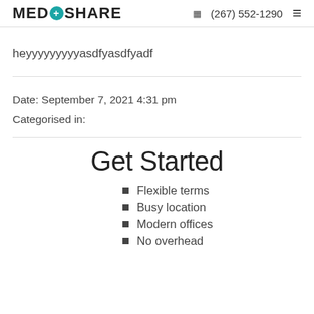MEDCOSHARE (267) 552-1290
heyyyyyyyyyasdfyasdfyadf
Date: September 7, 2021 4:31 pm
Categorised in:
Get Started
Flexible terms
Busy location
Modern offices
No overhead